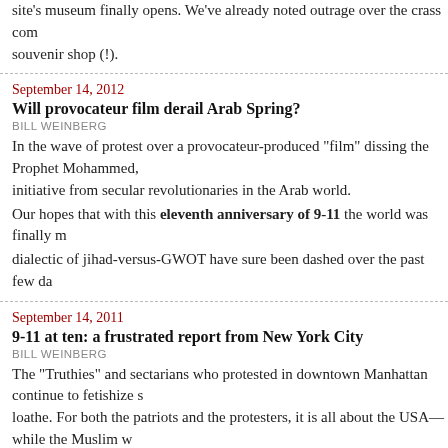site's museum finally opens. We've already noted outrage over the crass com souvenir shop (!).
September 14, 2012
Will provocateur film derail Arab Spring?
BILL WEINBERG
In the wave of protest over a provocateur-produced "film" dissing the Prophet Mohammed, initiative from secular revolutionaries in the Arab world.
Our hopes that with this eleventh anniversary of 9-11 the world was finally moving beyond the dialectic of jihad-versus-GWOT have sure been dashed over the past few da
September 14, 2011
9-11 at ten: a frustrated report from New York City
BILL WEINBERG
The "Truthies" and sectarians who protested in downtown Manhattan continue to fetishize s loathe. For both the patriots and the protesters, it is all about the USA—while the Muslim w Ten years after 9-11, there are many hopeful signs that the world is finally m dynamic unleashed by the attacks.
September 8, 2011
Bogus FBI tactics snare Muslims —and Jews
BILL WEINBERG